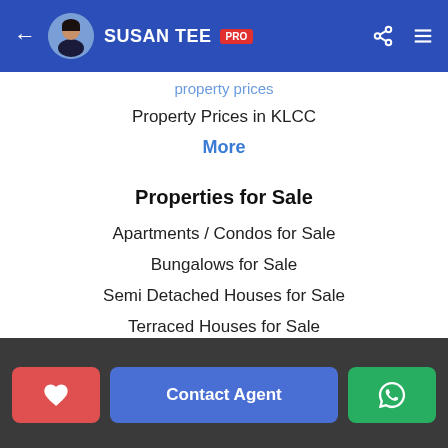SUSAN TEE PRO
Property Prices in KLCC
More
Properties for Sale
Apartments / Condos for Sale
Bungalows for Sale
Semi Detached Houses for Sale
Terraced Houses for Sale
Commercial Properties for Sale
Properties for Rent
Contact Agent